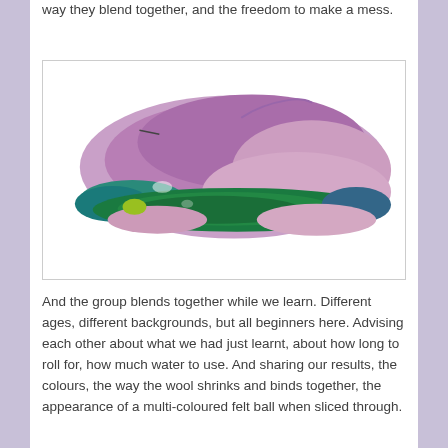way they blend together, and the freedom to make a mess.
[Figure (photo): A felted wool piece photographed against a white background, showing layered colours of purple/pink on top and a bright green band along the bottom, with teal and blue at the edges.]
And the group blends together while we learn. Different ages, different backgrounds, but all beginners here. Advising each other about what we had just learnt, about how long to roll for, how much water to use. And sharing our results, the colours, the way the wool shrinks and binds together, the appearance of a multi-coloured felt ball when sliced through.